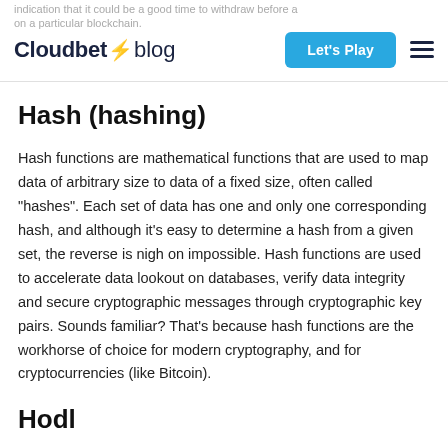Cloudbet blog — Let's Play
Hash (hashing)
Hash functions are mathematical functions that are used to map data of arbitrary size to data of a fixed size, often called "hashes". Each set of data has one and only one corresponding hash, and although it's easy to determine a hash from a given set, the reverse is nigh on impossible. Hash functions are used to accelerate data lookout on databases, verify data integrity and secure cryptographic messages through cryptographic key pairs. Sounds familiar? That's because hash functions are the workhorse of choice for modern cryptography, and for cryptocurrencies (like Bitcoin).
Hodl